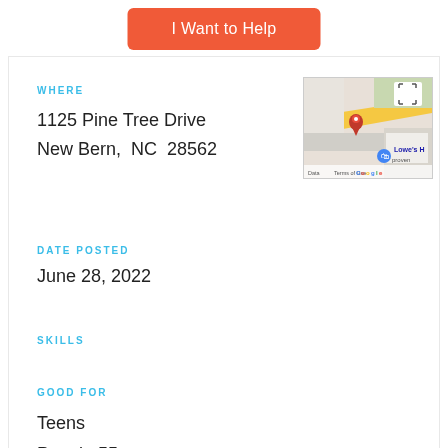I Want to Help
WHERE
1125 Pine Tree Drive
New Bern,  NC  28562
[Figure (map): Google Maps thumbnail showing location near 1125 Pine Tree Drive, New Bern NC, with a red pin marker and Lowe's Home Improvement visible]
DATE POSTED
June 28, 2022
SKILLS
GOOD FOR
Teens
People 55+